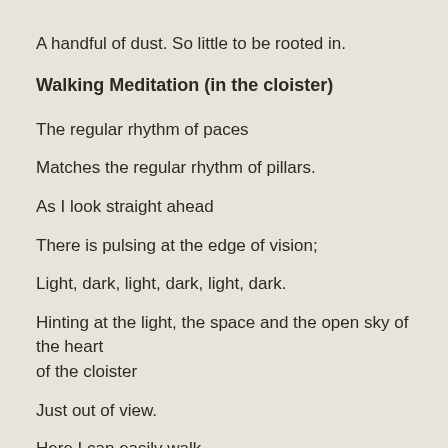A handful of dust. So little to be rooted in.
Walking Meditation (in the cloister)
The regular rhythm of paces
Matches the regular rhythm of pillars.
As I look straight ahead
There is pulsing at the edge of vision;
Light, dark, light, dark, light, dark.
Hinting at the light, the space and the open sky of the heart of the cloister
Just out of view.
Here I can easily walk,